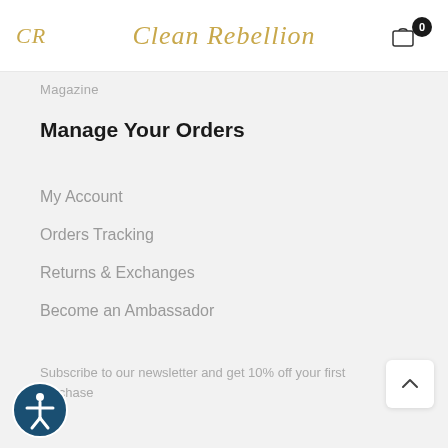CR  Clean Rebellion  0
Magazine
Manage Your Orders
My Account
Orders Tracking
Returns & Exchanges
Become an Ambassador
Subscribe to our newsletter and get 10% off your first purchase